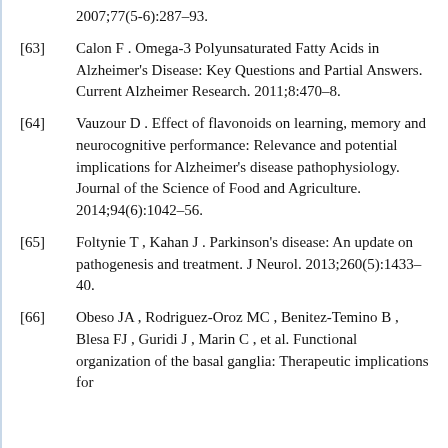2007;77(5-6):287–93.
[63] Calon F . Omega-3 Polyunsaturated Fatty Acids in Alzheimer's Disease: Key Questions and Partial Answers. Current Alzheimer Research. 2011;8:470–8.
[64] Vauzour D . Effect of flavonoids on learning, memory and neurocognitive performance: Relevance and potential implications for Alzheimer's disease pathophysiology. Journal of the Science of Food and Agriculture. 2014;94(6):1042–56.
[65] Foltynie T , Kahan J . Parkinson's disease: An update on pathogenesis and treatment. J Neurol. 2013;260(5):1433–40.
[66] Obeso JA , Rodriguez-Oroz MC , Benitez-Temino B , Blesa FJ , Guridi J , Marin C , et al. Functional organization of the basal ganglia: Therapeutic implications for